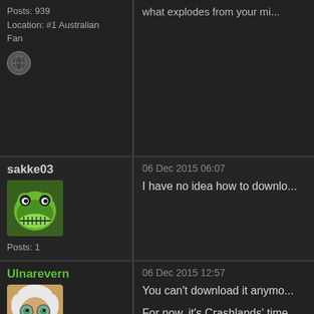Posts: 939
Location: #1 Australian Fan
[Figure (illustration): Small circular globe/world icon]
what explodes from your mi...
sakke03
[Figure (photo): Forum avatar: cartoon frog with big grin]
Posts: 1
06 Dec 2015 06:07
I have no idea how to downlo...
Ulnarevern
[Figure (photo): Forum avatar: cartoon Einstein-like figure with big eyes and white beard]
Posts: 1831
Location: Bordeaux, France
06 Dec 2015 12:57
You can't download it anymo...

For now, it's Crashlands' time...
Then the bros will get back t...
to have more info 😀